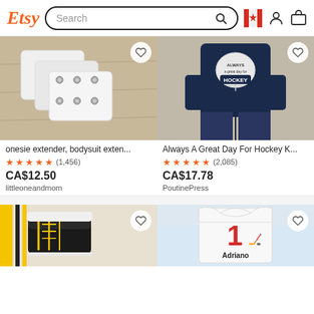Etsy — Search
[Figure (photo): Onesie extender / bodysuit extender product photo showing white snap extenders on wood surface]
onesie extender, bodysuit exten...
★★★★★ (1,456)
CA$12.50
littleoneandmom
[Figure (photo): Child wearing navy blue Always A Great Day For Hockey Kids shirt with hockey helmet graphic]
Always A Great Day For Hockey K...
★★★★★ (2,085)
CA$17.78
PoutinePress
[Figure (photo): Black and yellow crocheted baby hockey skate booties on white background]
[Figure (photo): White baby onesie with red number 1 and hockey player design, personalized with name Adriano]